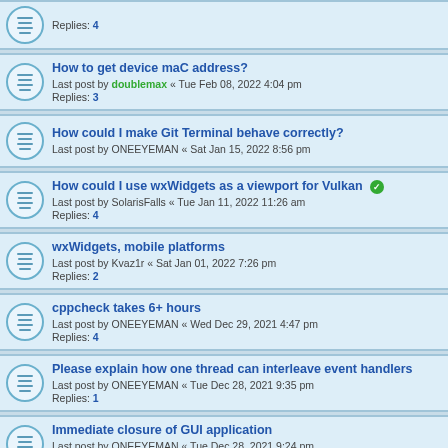Replies: 4
How to get device maC address?
Last post by doublemax « Tue Feb 08, 2022 4:04 pm
Replies: 3
How could I make Git Terminal behave correctly?
Last post by ONEEYEMAN « Sat Jan 15, 2022 8:56 pm
How could I use wxWidgets as a viewport for Vulkan
Last post by SolarisFalls « Tue Jan 11, 2022 11:26 am
Replies: 4
wxWidgets, mobile platforms
Last post by Kvaz1r « Sat Jan 01, 2022 7:26 pm
Replies: 2
cppcheck takes 6+ hours
Last post by ONEEYEMAN « Wed Dec 29, 2021 4:47 pm
Replies: 4
Please explain how one thread can interleave event handlers
Last post by ONEEYEMAN « Tue Dec 28, 2021 9:35 pm
Replies: 1
Immediate closure of GUI application
Last post by ONEEYEMAN « Tue Dec 28, 2021 9:24 pm
Replies: 2
Glimmer DSL for wxWidgets
Last post by doublemax « Sun Dec 19, 2021 7:59 pm
Replies: 3
Adding autocomplete form support to webview
Last post by doublemax « Sun Dec 05, 2021 8:10 am
Replies: 1